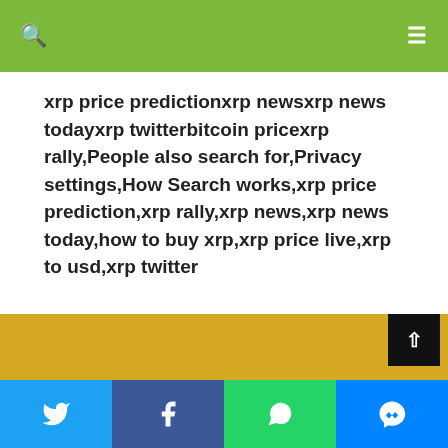xrp price predictionxrp newsxrp news todayxrp twitterbitcoin pricexrp rally,People also search for,Privacy settings,How Search works,xrp price prediction,xrp rally,xrp news,xrp news today,how to buy xrp,xrp price live,xrp to usd,xrp twitter
Share  Tweet
REGISTER NOW ON BINANCE, ADD 50$ AND GET 100$ BONUS VOUCHER!